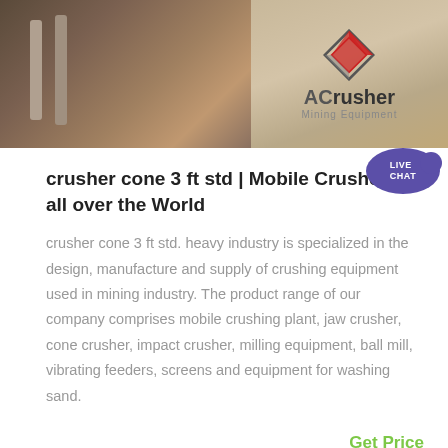[Figure (photo): Banner with two halves: left shows construction site with concrete pillars and workers, right shows ACrusher Mining Equipment logo with diamond/arrow icon]
crusher cone 3 ft std | Mobile Crushers all over the World
crusher cone 3 ft std. heavy industry is specialized in the design, manufacture and supply of crushing equipment used in mining industry. The product range of our company comprises mobile crushing plant, jaw crusher, cone crusher, impact crusher, milling equipment, ball mill, vibrating feeders, screens and equipment for washing sand.
Get Price
[Figure (photo): Two partial images at bottom: left shows a light blue/white image, right shows trees/outdoor scene]